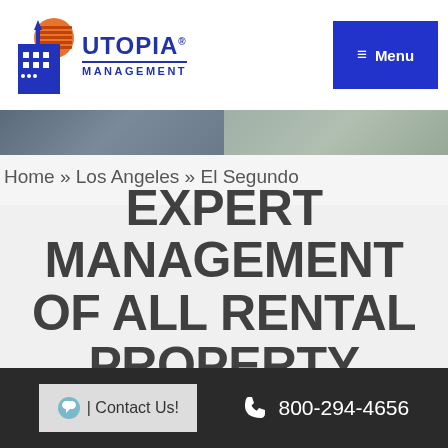[Figure (logo): Utopia Management logo with building icon, orange sun, and blue text]
≡ Menu
[Figure (photo): Hero banner strip showing a building exterior on left and a person on right]
Home » Los Angeles » El Segundo
EXPERT MANAGEMENT OF ALL RENTAL PROPERTY
💬 | Contact Us!     📞 800-294-4656